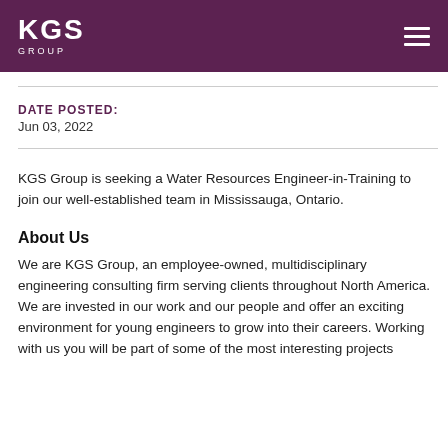KGS GROUP
DATE POSTED:
Jun 03, 2022
KGS Group is seeking a Water Resources Engineer-in-Training to join our well-established team in Mississauga, Ontario.
About Us
We are KGS Group, an employee-owned, multidisciplinary engineering consulting firm serving clients throughout North America. We are invested in our work and our people and offer an exciting environment for young engineers to grow into their careers. Working with us you will be part of some of the most interesting projects